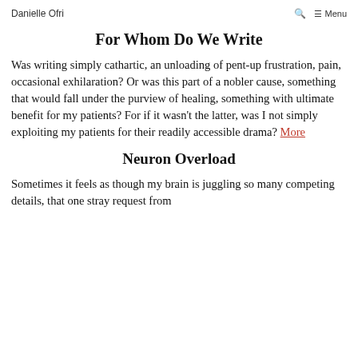Danielle Ofri | ☰ Menu
For Whom Do We Write
Was writing simply cathartic, an unloading of pent-up frustration, pain, occasional exhilaration? Or was this part of a nobler cause, something that would fall under the purview of healing, something with ultimate benefit for my patients? For if it wasn't the latter, was I not simply exploiting my patients for their readily accessible drama? More
Neuron Overload
Sometimes it feels as though my brain is juggling so many competing details, that one stray request from